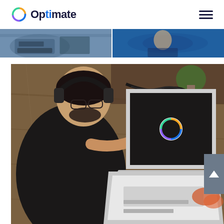Optimate
[Figure (photo): Top image strip showing two cropped photos side by side: left shows a person at a computer, right shows a person in a professional setting]
[Figure (photo): Main large photo of a young man wearing headphones and glasses, viewed from above, working at a desk with two laptops, one showing the Optimate logo. Wooden desk background with plants and accessories visible.]